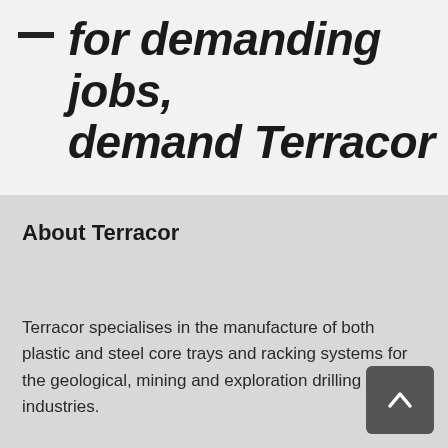for demanding jobs, demand Terracor
About Terracor
Terracor specialises in the manufacture of both plastic and steel core trays and racking systems for the geological, mining and exploration drilling industries.